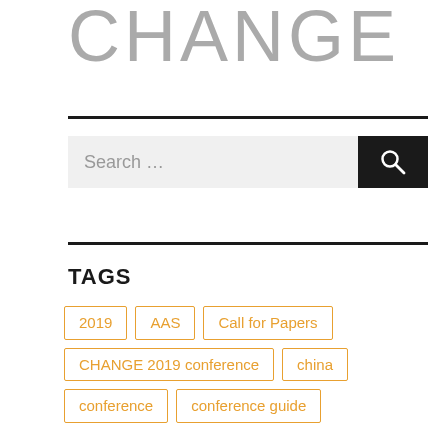CHANGE
TAGS
2019
AAS
Call for Papers
CHANGE 2019 conference
china
conference
conference guide